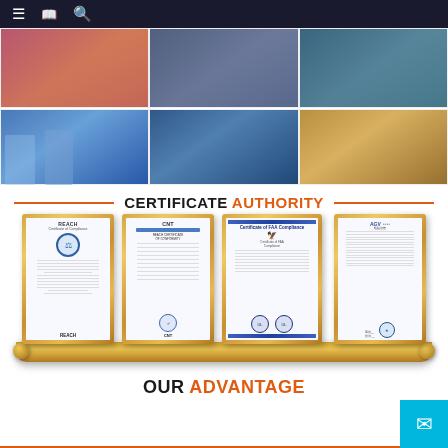[Figure (photo): Navigation bar with menu, book, and search icons on dark background]
[Figure (photo): Grid of six photos showing groups of people at what appears to be a trade show or exhibition event]
CERTIFICATE AUTHORITY
[Figure (photo): Four framed certificates displayed on a gold stand: REACH Certificate of Compliance, CNT REACH Certificate of Conformity, Certificate of FAA Compliance, and AGU certificate]
OUR ADVANTAGE